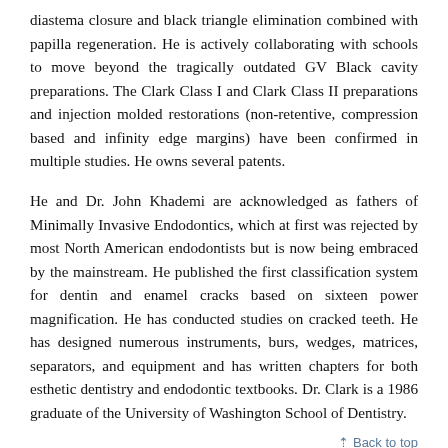diastema closure and black triangle elimination combined with papilla regeneration. He is actively collaborating with schools to move beyond the tragically outdated GV Black cavity preparations. The Clark Class I and Clark Class II preparations and injection molded restorations (non-retentive, compression based and infinity edge margins) have been confirmed in multiple studies. He owns several patents.
He and Dr. John Khademi are acknowledged as fathers of Minimally Invasive Endodontics, which at first was rejected by most North American endodontists but is now being embraced by the mainstream. He published the first classification system for dentin and enamel cracks based on sixteen power magnification. He has conducted studies on cracked teeth. He has designed numerous instruments, burs, wedges, matrices, separators, and equipment and has written chapters for both esthetic dentistry and endodontic textbooks. Dr. Clark is a 1986 graduate of the University of Washington School of Dentistry.
↑ Back to top
Aug 18, 2022 9:35 AM - 10:30 AM